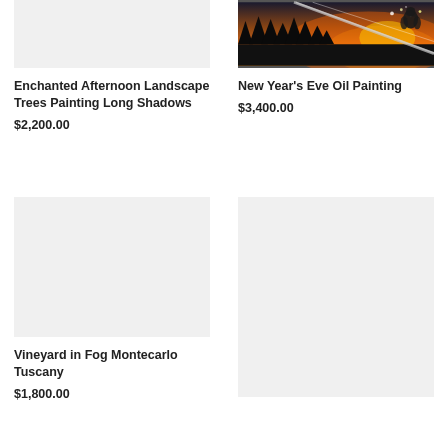[Figure (photo): Light gray placeholder image for Enchanted Afternoon Landscape Trees Painting Long Shadows artwork]
Enchanted Afternoon Landscape Trees Painting Long Shadows
$2,200.00
[Figure (photo): Dark dramatic fire and forest scene for New Year's Eve Oil Painting]
New Year's Eve Oil Painting
$3,400.00
[Figure (photo): Light gray placeholder image for Vineyard in Fog Montecarlo Tuscany artwork]
Vineyard in Fog Montecarlo Tuscany
$1,800.00
[Figure (photo): Light gray placeholder image for fourth artwork (partially visible)]